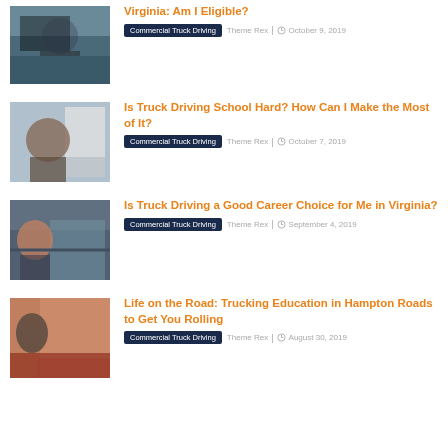[Figure (photo): Truck driver in cab, industrial setting]
Virginia: Am I Eligible?
Commercial Truck Driving   Theme Rex | October 9, 2019
[Figure (photo): Driver looking out truck window]
Is Truck Driving School Hard? How Can I Make the Most of It?
Commercial Truck Driving   Theme Rex | October 7, 2019
[Figure (photo): Hand holding CB radio in truck]
Is Truck Driving a Good Career Choice for Me in Virginia?
Commercial Truck Driving   Theme Rex | September 4, 2019
[Figure (photo): Person standing by red truck]
Life on the Road: Trucking Education in Hampton Roads to Get You Rolling
Commercial Truck Driving   Theme Rex | August 30, 2019